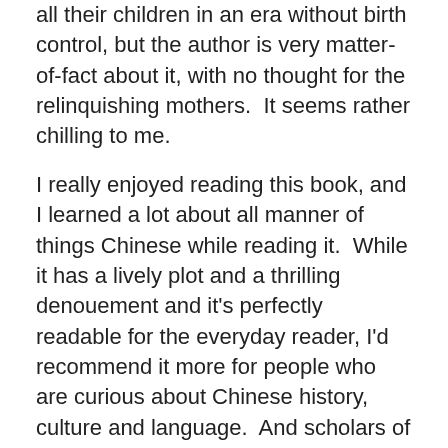Perhaps it has to do with families being unable to support all their children in an era without birth control, but the author is very matter-of-fact about it, with no thought for the relinquishing mothers.  It seems rather chilling to me.
I really enjoyed reading this book, and I learned a lot about all manner of things Chinese while reading it.  While it has a lively plot and a thrilling denouement and it's perfectly readable for the everyday reader, I'd recommend it more for people who are curious about Chinese history, culture and language.  And scholars of literary Chinese will find the bilingual layout perfect for their purposes.
The Poison of Polygamy was featured on Radio National's The History Listen program.
Image credit:
Wong Shee Ping, 1915. Text via Wikipedia